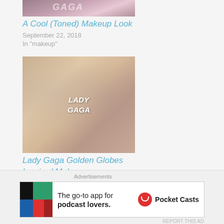[Figure (photo): Top portion of a makeup-related thumbnail image with stylized text 'GAGA' visible]
A Cool (Toned) Makeup Look
September 22, 2018
In "makeup"
[Figure (photo): Two women with blonde hair and dramatic eye makeup, text overlay reads 'LADY GAGA']
Lady Gaga Golden Globes Inspired Makeup
January 20, 2019
In "makeup"
Advertisements
[Figure (other): Pocket Casts advertisement banner: 'The go-to app for podcast lovers.' with Pocket Casts logo]